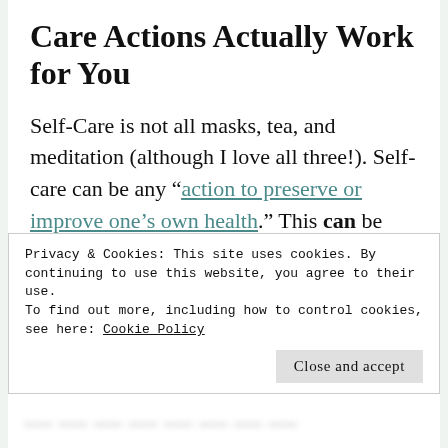Care Actions Actually Work for You
Self-Care is not all masks, tea, and meditation (although I love all three!). Self-care can be any “action to preserve or improve one’s own health.” This can be exercise,
Privacy & Cookies: This site uses cookies. By continuing to use this website, you agree to their use.
To find out more, including how to control cookies, see here: Cookie Policy
Close and accept